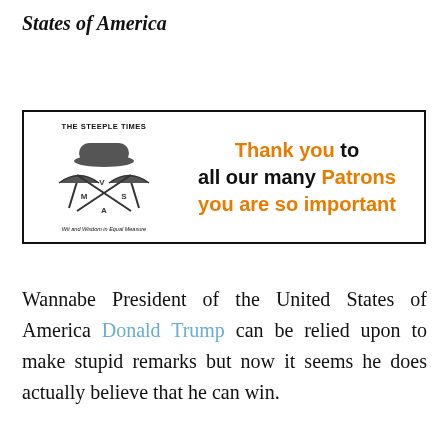States of America
[Figure (logo): The Steeple Times advertisement banner with logo (bowler hat and crossed umbrellas with V, M, S, A letters) and text: Thank you to all our many Patrons you are so important. Tagline: Wit and Wisdom in Equal Measure.]
Wannabe President of the United States of America Donald Trump can be relied upon to make stupid remarks but now it seems he does actually believe that he can win.